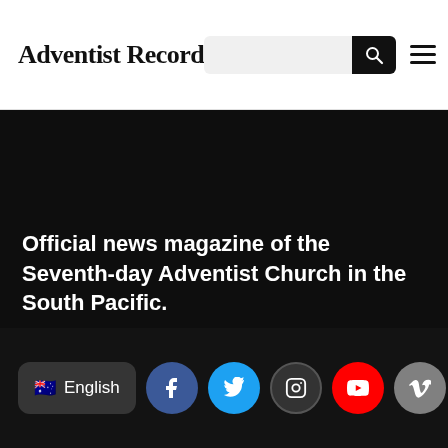Adventist Record
Official news magazine of the Seventh-day Adventist Church in the South Pacific.
English [social icons: Facebook, Twitter, Instagram, YouTube, Vimeo]